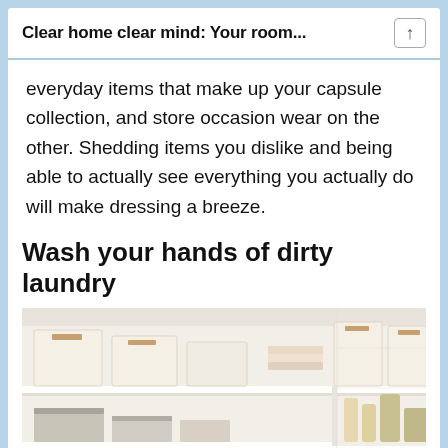Clear home clear mind: Your room...
everyday items that make up your capsule collection, and store occasion wear on the other. Shedding items you dislike and being able to actually see everything you actually do will make dressing a breeze.
Wash your hands of dirty laundry
[Figure (photo): Organized white shelving unit with storage boxes on top, folded linens and items on middle shelves, and hanging clothes on the lower right section]